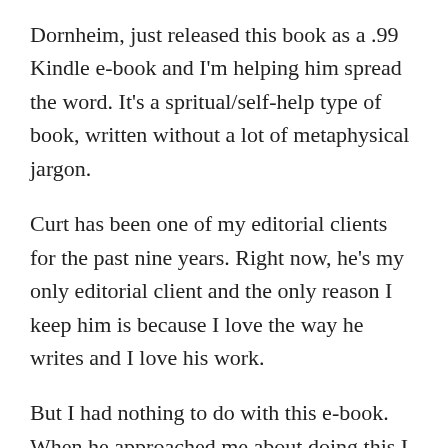Dornheim, just released this book as a .99 Kindle e-book and I'm helping him spread the word. It's a spritual/self-help type of book, written without a lot of metaphysical jargon.
Curt has been one of my editorial clients for the past nine years. Right now, he's my only editorial client and the only reason I keep him is because I love the way he writes and I love his work.
But I had nothing to do with this e-book. When he approached me about doing this I told him I'd help him promote, but that I knew nothing about self-publishing and I didn't have the time to learn right now. So he found a friend who would help him, and the book was just released yesterday.
I've personally read the book from cover to cover, from its